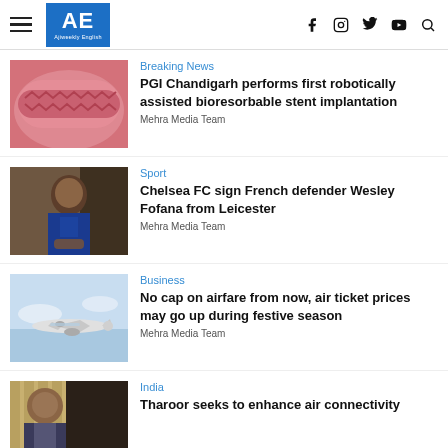AE Ajiweekly English
[Figure (photo): Close-up of a bioresorbable stent implant, pink/red medical device]
Breaking News
PGI Chandigarh performs first robotically assisted bioresorbable stent implantation
Mehra Media Team
[Figure (photo): Young man in Chelsea FC blue jersey sitting at a table]
Sport
Chelsea FC sign French defender Wesley Fofana from Leicester
Mehra Media Team
[Figure (photo): Airplane in flight against a partly cloudy blue sky]
Business
No cap on airfare from now, air ticket prices may go up during festive season
Mehra Media Team
[Figure (photo): Older Indian man in dark vest, partial head shot]
India
Tharoor seeks to enhance air connectivity